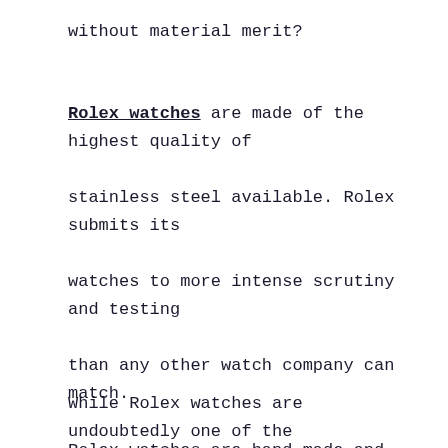without material merit?
Rolex watches are made of the highest quality of stainless steel available. Rolex submits its watches to more intense scrutiny and testing than any other watch company can match. Rolex watches are hand-made and tested in their own laboratories, and it takes over a year to produce each one.
While Rolex watches are undoubtedly one of the